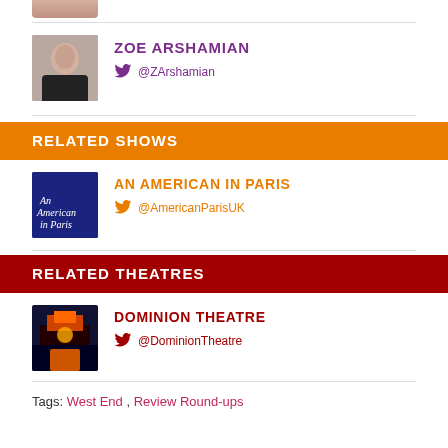[Figure (photo): Partial photo of a person at top of page]
ZOE ARSHAMIAN
@ZArshamian
RELATED SHOWS
AN AMERICAN IN PARIS
@AmericanParisUK
[Figure (logo): An American in Paris logo on blue background]
RELATED THEATRES
DOMINION THEATRE
@DominionTheatre
[Figure (photo): Dominion Theatre exterior at night]
Tags: West End , Review Round-ups